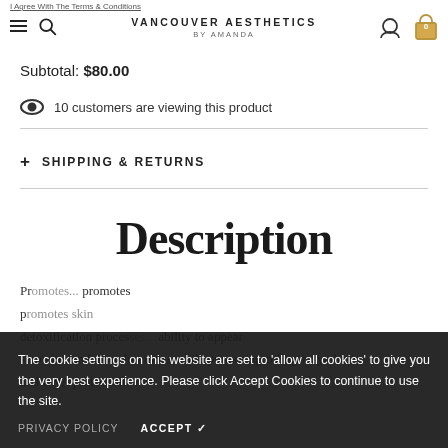VANCOUVER AESTHETICS BY AMANDA
Subtotal: $80.00
10 customers are viewing this product
+ SHIPPING & RETURNS
Description
The cookie settings on this website are set to 'allow all cookies' to give you the very best experience. Please click Accept Cookies to continue to use the site.
PRIVACY POLICY   ACCEPT ✓